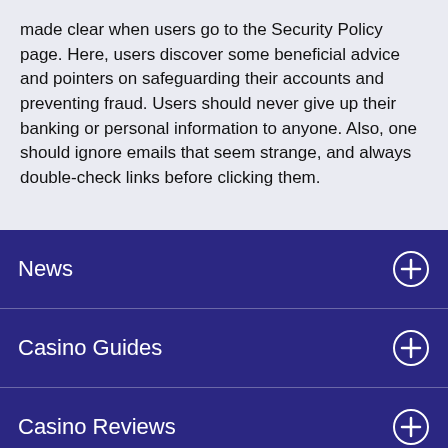made clear when users go to the Security Policy page. Here, users discover some beneficial advice and pointers on safeguarding their accounts and preventing fraud. Users should never give up their banking or personal information to anyone. Also, one should ignore emails that seem strange, and always double-check links before clicking them.
News
Casino Guides
Casino Reviews